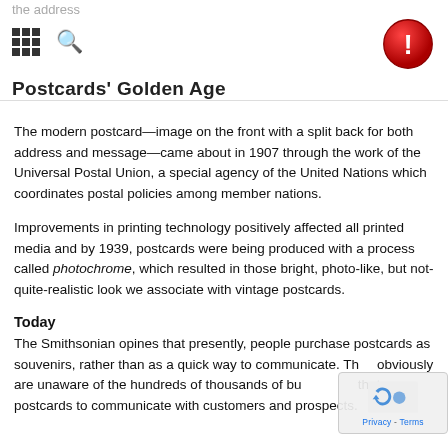the address
Postcards' Golden Age
The modern postcard—image on the front with a split back for both address and message—came about in 1907 through the work of the Universal Postal Union, a special agency of the United Nations which coordinates postal policies among member nations.
Improvements in printing technology positively affected all printed media and by 1939, postcards were being produced with a process called photochrome, which resulted in those bright, photo-like, but not-quite-realistic look we associate with vintage postcards.
Today
The Smithsonian opines that presently, people purchase postcards as souvenirs, rather than as a quick way to communicate. They obviously are unaware of the hundreds of thousands of businesses that use postcards to communicate with customers and prospects.